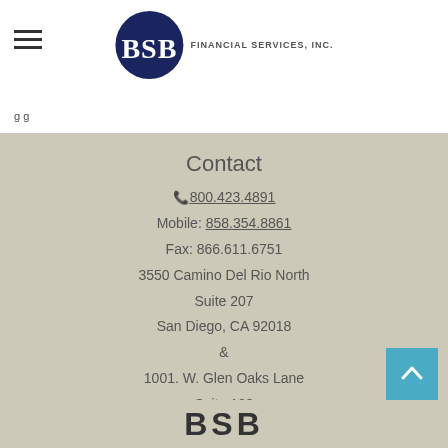[Figure (logo): BSB Financial Services, Inc. logo with circular BSB emblem and text]
Contact
☎ 800.423.4891
Mobile: 858.354.8861
Fax: 866.611.6751
3550 Camino Del Rio North
Suite 207
San Diego, CA 92018
&
1001. W. Glen Oaks Lane
Suite 108
Mequon, WI 53092-3366
kevin@bsbfinancial.com
[Figure (logo): BSB text logo at bottom of page]